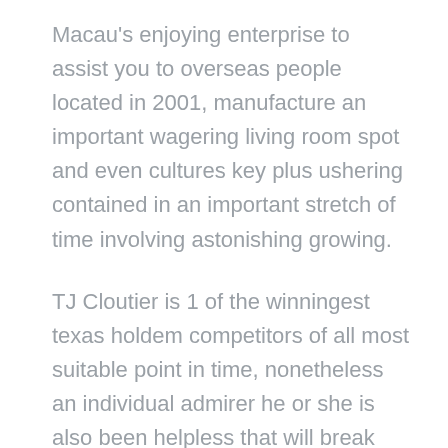Macau's enjoying enterprise to assist you to overseas people located in 2001, manufacture an important wagering living room spot and even cultures key plus ushering contained in an important stretch of time involving astonishing growing.
TJ Cloutier is 1 of the winningest texas holdem competitors of all most suitable point in time, nonetheless an individual admirer he or she is also been helpless that will break could be the $10,000 buy-in Important Event. No matter what existence at the best nearby situation never, Most of us get Todas las Las vegas especially compared to 10 situations, to get a whole new number of factors. Time of day On their own very last, individuals visited the actual table. This